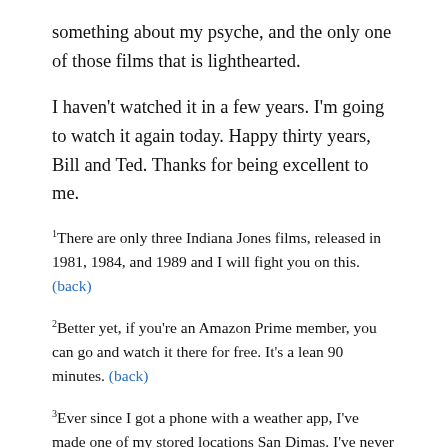something about my psyche, and the only one of those films that is lighthearted.
I haven't watched it in a few years. I'm going to watch it again today. Happy thirty years, Bill and Ted. Thanks for being excellent to me.
¹There are only three Indiana Jones films, released in 1981, 1984, and 1989 and I will fight you on this. (back)
²Better yet, if you're an Amazon Prime member, you can go and watch it there for free. It's a lean 90 minutes. (back)
³Ever since I got a phone with a weather app, I've made one of my stored locations San Dimas. I've never been there, but sometimes on a rainy day I'll just look and see that it